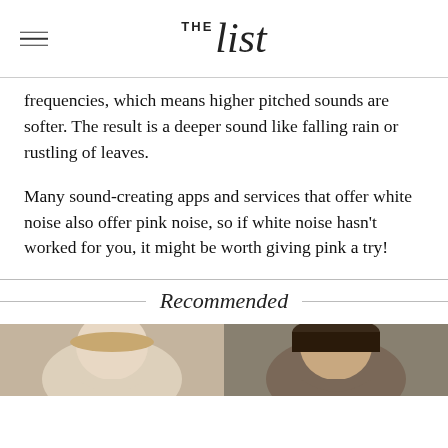THE list
frequencies, which means higher pitched sounds are softer. The result is a deeper sound like falling rain or rustling of leaves.
Many sound-creating apps and services that offer white noise also offer pink noise, so if white noise hasn't worked for you, it might be worth giving pink a try!
Recommended
[Figure (photo): Two side-by-side thumbnail photos: left shows a woman with light hair, right shows a man with dark hair.]